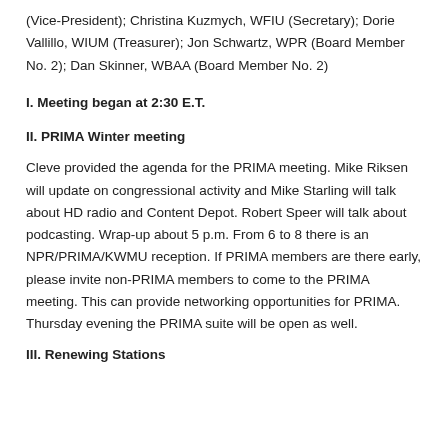(Vice-President); Christina Kuzmych, WFIU (Secretary); Dorie Vallillo, WIUM (Treasurer); Jon Schwartz, WPR (Board Member No. 2); Dan Skinner, WBAA (Board Member No. 2)
I. Meeting began at 2:30 E.T.
II. PRIMA Winter meeting
Cleve provided the agenda for the PRIMA meeting. Mike Riksen will update on congressional activity and Mike Starling will talk about HD radio and Content Depot. Robert Speer will talk about podcasting. Wrap-up about 5 p.m. From 6 to 8 there is an NPR/PRIMA/KWMU reception. If PRIMA members are there early, please invite non-PRIMA members to come to the PRIMA meeting. This can provide networking opportunities for PRIMA. Thursday evening the PRIMA suite will be open as well.
III. Renewing Stations